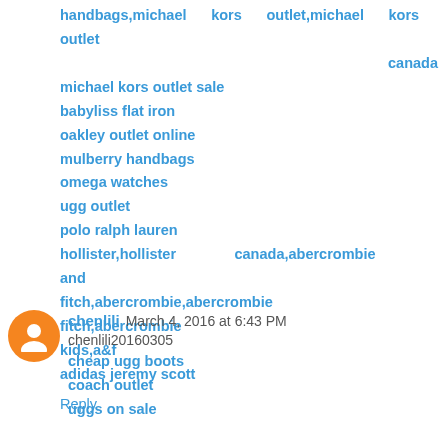handbags,michael kors outlet,michael kors outlet canada
michael kors outlet sale
babyliss flat iron
oakley outlet online
mulberry handbags
omega watches
ugg outlet
polo ralph lauren
hollister,hollister canada,abercrombie and fitch,abercrombie,abercrombie fitch,abercrombie kids,a&f
adidas jeremy scott
Reply
chenlili  March 4, 2016 at 6:43 PM
chenlili20160305
cheap ugg boots
coach outlet
uggs on sale